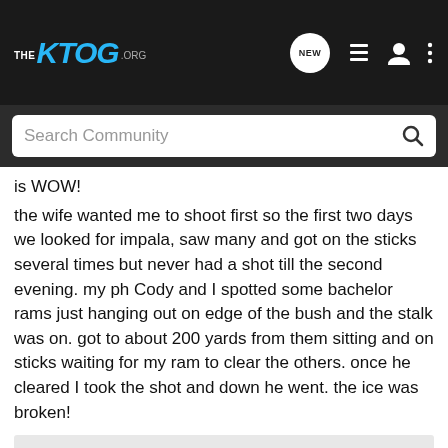THE KTOG .ORG
is WOW! the wife wanted me to shoot first so the first two days we looked for impala, saw many and got on the sticks several times but never had a shot till the second evening. my ph Cody and I spotted some bachelor rams just hanging out on edge of the bush and the stalk was on. got to about 200 yards from them sitting and on sticks waiting for my ram to clear the others. once he cleared I took the shot and down he went. the ice was broken!
[Figure (photo): Image placeholder / partially visible photo area at the bottom of the page]